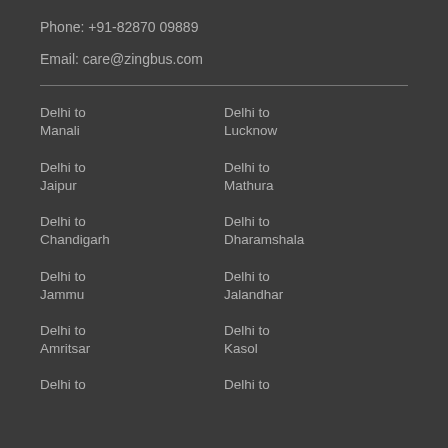Phone: +91-82870 09889
Email: care@zingbus.com
Delhi to Manali
Delhi to Lucknow
Delhi to Jaipur
Delhi to Mathura
Delhi to Chandigarh
Delhi to Dharamshala
Delhi to Jammu
Delhi to Jalandhar
Delhi to Amritsar
Delhi to Kasol